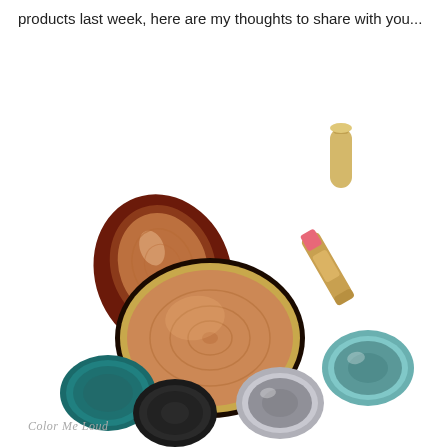products last week, here are my thoughts to share with you...
[Figure (photo): Flat lay of makeup products on white background: an open bronzer compact with tortoiseshell lid, a coral/pink lipstick tube, a gold lipstick cap, a teal pressed powder compact, a black powder pan, a grey cream eyeshadow pot, and a teal cream eyeshadow pot.]
Color Me Loud